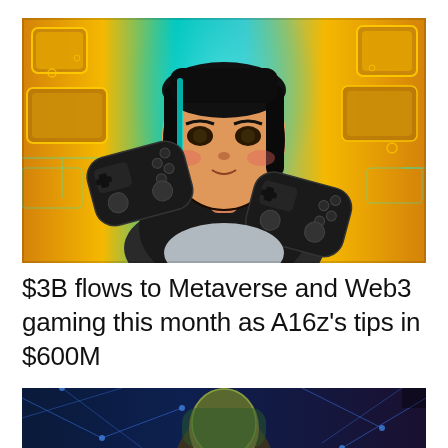[Figure (illustration): Digital illustration of a woman holding two game controllers against a glowing gold and teal metaverse/blockchain background with coins and circuit patterns]
$3B flows to Metaverse and Web3 gaming this month as A16z’s tips in $600M
[Figure (illustration): Partial view of another digital illustration featuring a character with money against a blue geometric/network background]